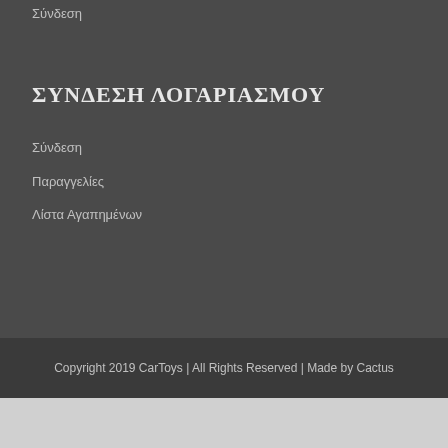Σύνδεση
ΣΥΝΔΕΣΗ ΛΟΓΑΡΙΑΣΜΟΥ
Σύνδεση
Παραγγελίες
Λίστα Αγαπημένων
Copyright 2019 CarToys | All Rights Reserved | Made by Cactus
[Figure (logo): Snif.gr Partner logo with cartoon dog character]